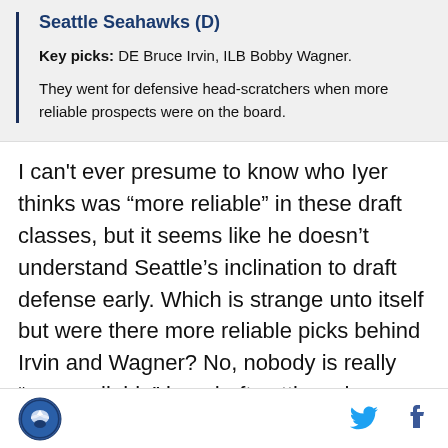Seattle Seahawks (D)
Key picks: DE Bruce Irvin, ILB Bobby Wagner.
They went for defensive head-scratchers when more reliable prospects were on the board.
I can't ever presume to know who Iyer thinks was “more reliable” in these draft classes, but it seems like he doesn’t understand Seattle’s inclination to draft defense early. Which is strange unto itself but were there more reliable picks behind Irvin and Wagner? No, nobody is really “more reliable” in a draft setting when talking about players who are separated by picks instead of rounds.
[Figure (logo): Sports news outlet logo (circular emblem with eagle/bird design)]
[Figure (illustration): Twitter bird icon in blue]
[Figure (illustration): Facebook f icon in dark blue]